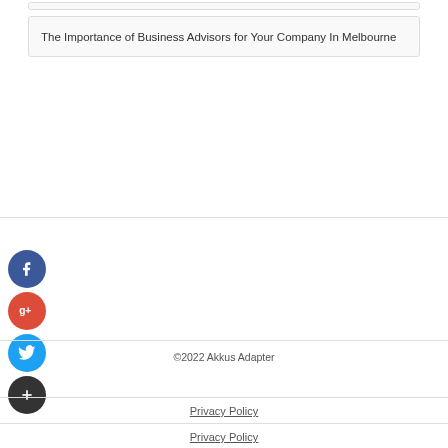The Importance of Business Advisors for Your Company In Melbourne
[Figure (infographic): Social media share icons: Facebook (blue circle with f), Google+ (red circle with g+), Twitter (blue circle with bird), Add/Plus (dark circle with +)]
©2022 Akkus Adapter
Privacy Policy
Privacy Policy